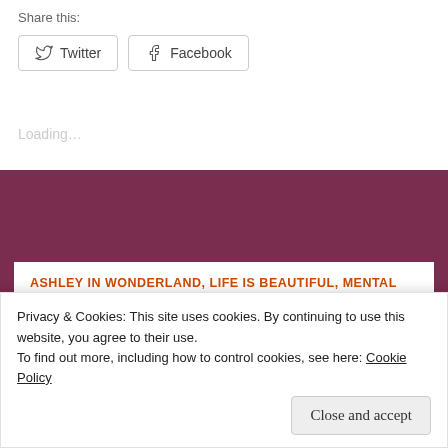Share this:
[Figure (screenshot): Social share buttons: Twitter and Facebook with icons, styled as bordered rounded-rectangle buttons]
Loading…
ASHLEY IN WONDERLAND, LIFE IS BEAUTIFUL, MENTAL
Privacy & Cookies: This site uses cookies. By continuing to use this website, you agree to their use.
To find out more, including how to control cookies, see here: Cookie Policy
Close and accept